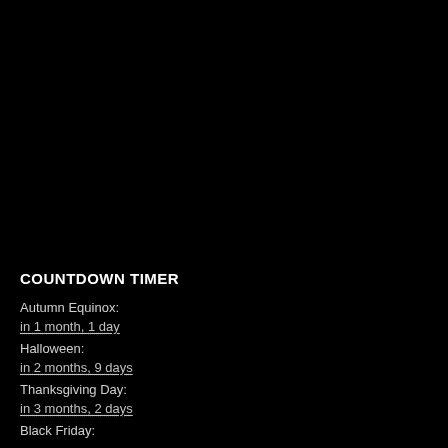COUNTDOWN TIMER
Autumn Equinox:
in 1 month, 1 day
Halloween:
in 2 months, 9 days
Thanksgiving Day:
in 3 months, 2 days
Black Friday: